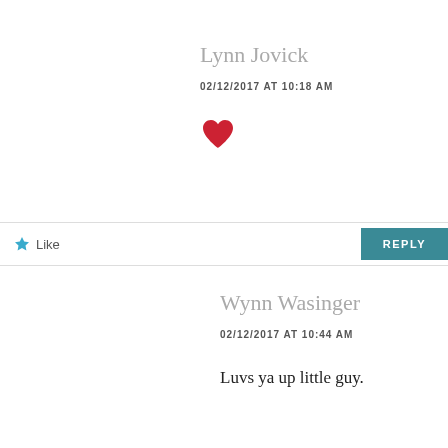Lynn Jovick
02/12/2017 AT 10:18 AM
[Figure (illustration): Red heart emoji icon]
Like
REPLY
Wynn Wasinger
02/12/2017 AT 10:44 AM
Luvs ya up little guy.